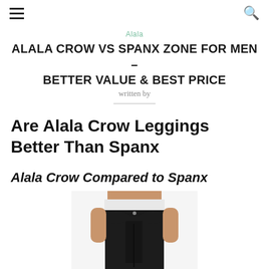≡  🔍
Alala
ALALA CROW VS SPANX ZONE FOR MEN – BETTER VALUE & BEST PRICE
written by
Are Alala Crow Leggings Better Than Spanx
Alala Crow Compared to Spanx
[Figure (photo): A person wearing black leggings, showing from waist to knees, cropped photo of athletic wear]